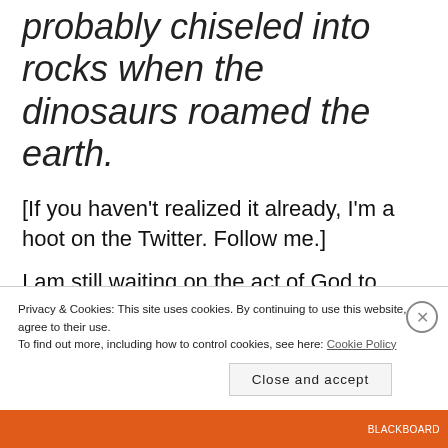probably chiseled into rocks when the dinosaurs roamed the earth.
[If you haven't realized it already, I'm a hoot on the Twitter. Follow me.]
I am still waiting on the act of God to break out my area from journalism. I am still waiting on these retirements so the department could hire a tenure-
Privacy & Cookies: This site uses cookies. By continuing to use this website, you agree to their use.
To find out more, including how to control cookies, see here: Cookie Policy
Close and accept